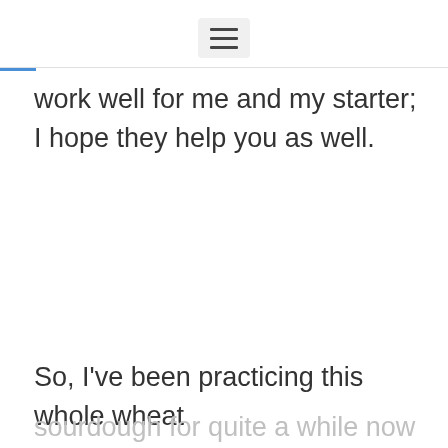work well for me and my starter; I hope they help you as well.
So, I've been practicing this whole wheat
sourdough for quite a while now trying to get things